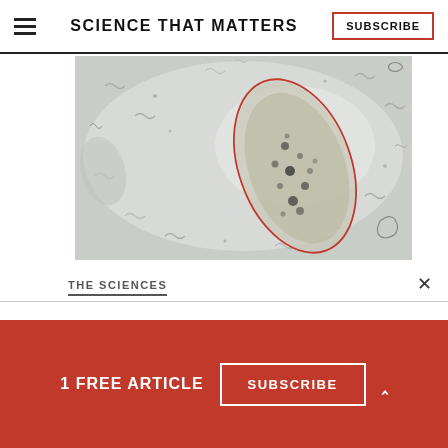SCIENCE THAT MATTERS
[Figure (photo): Microscope image of a paramecium or similar single-celled organism outlined in red, surrounded by smaller organisms on a light grey background]
THE SCIENCES
1 FREE ARTICLE
SUBSCRIBE